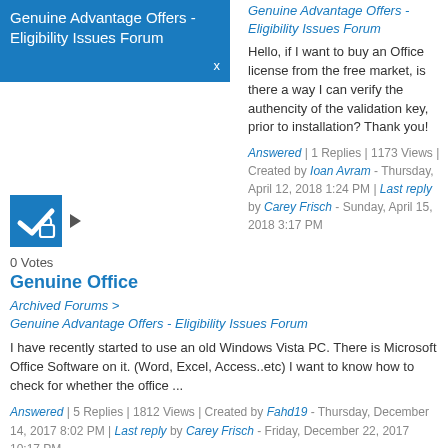Genuine Advantage Offers - Eligibility Issues Forum
Genuine Advantage Offers - Eligibility Issues Forum
Hello, if I want to buy an Office license from the free market, is there a way I can verify the authencity of the validation key, prior to installation? Thank you!
Answered | 1 Replies | 1173 Views | Created by Ioan Avram - Thursday, April 12, 2018 1:24 PM | Last reply by Carey Frisch - Sunday, April 15, 2018 3:17 PM
[Figure (other): Blue checkbox icon with lock symbol]
0 Votes
Genuine Office
Archived Forums > Genuine Advantage Offers - Eligibility Issues Forum
I have recently started to use an old Windows Vista PC. There is Microsoft Office Software on it. (Word, Excel, Access..etc) I want to know how to check for whether the office ...
Answered | 5 Replies | 1812 Views | Created by Fahd19 - Thursday, December 14, 2017 8:02 PM | Last reply by Carey Frisch - Friday, December 22, 2017 10:17 PM